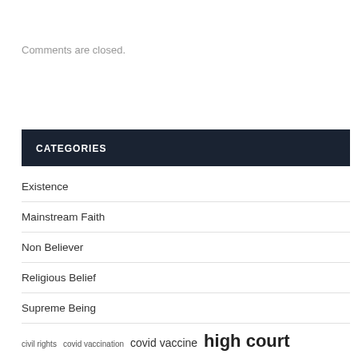Comments are closed.
CATEGORIES
Existence
Mainstream Faith
Non Believer
Religious Belief
Supreme Being
civil rights  covid vaccination  covid vaccine  high court